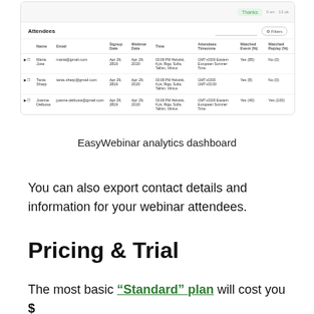[Figure (screenshot): EasyWebinar analytics dashboard showing an Attendees table with columns: Name, Email, Signup Date, Webinar Date, Time, Attendees Timezone, Watched Event (%), Watched Replay (%). Contains rows for Maria Jose, Tania Sharp, and Joanne Delbosa.]
EasyWebinar analytics dashboard
You can also export contact details and information for your webinar attendees.
Pricing & Trial
The most basic "Standard" plan will cost you $